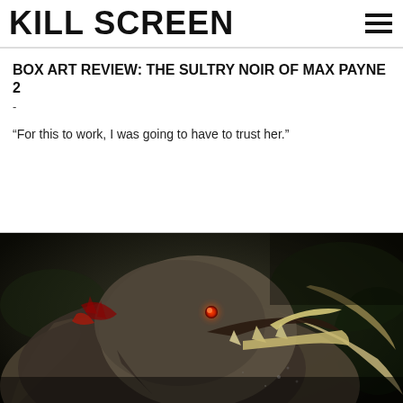KILL SCREEN
BOX ART REVIEW: THE SULTRY NOIR OF MAX PAYNE 2
-
“For this to work, I was going to have to trust her.”
[Figure (photo): Dark fantasy creature art showing a large beast resembling a mammoth or elephant-like monster with glowing red eyes, open jaws with large teeth, bloody wounds, massive tusks and horns, rendered in dark realistic style]